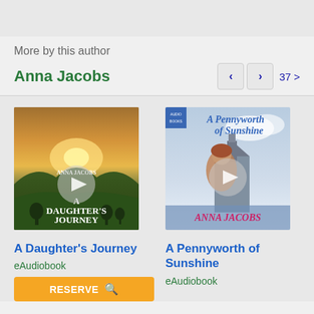More by this author
Anna Jacobs
37 >
[Figure (photo): Audiobook cover for 'A Daughter's Journey' by Anna Jacobs, showing a golden sunset over rolling hills with trees]
[Figure (photo): Audiobook cover for 'A Pennyworth of Sunshine' by Anna Jacobs, showing a woman in period costume against a coastal town backdrop]
A Daughter's Journey
eAudiobook
A Pennyworth of Sunshine
eAudiobook